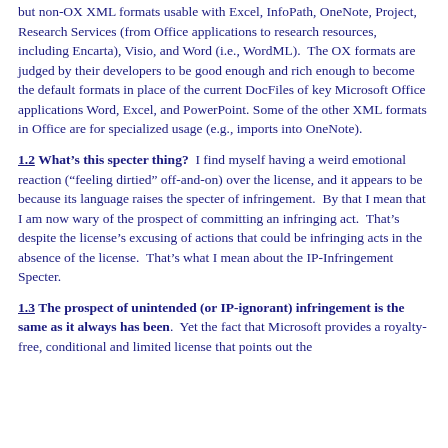but non-OX XML formats usable with Excel, InfoPath, OneNote, Project, Research Services (from Office applications to research resources, including Encarta), Visio, and Word (i.e., WordML). The OX formats are judged by their developers to be good enough and rich enough to become the default formats in place of the current DocFiles of key Microsoft Office applications Word, Excel, and PowerPoint. Some of the other XML formats in Office are for specialized usage (e.g., imports into OneNote).
1.2 What’s this specter thing?
I find myself having a weird emotional reaction (“feeling dirtied” off-and-on) over the license, and it appears to be because its language raises the specter of infringement. By that I mean that I am now wary of the prospect of committing an infringing act. That’s despite the license’s excusing of actions that could be infringing acts in the absence of the license. That’s what I mean about the IP-Infringement Specter.
1.3 The prospect of unintended (or IP-ignorant) infringement is the same as it always has been.
Yet the fact that Microsoft provides a royalty-free, conditional and limited license that points out the